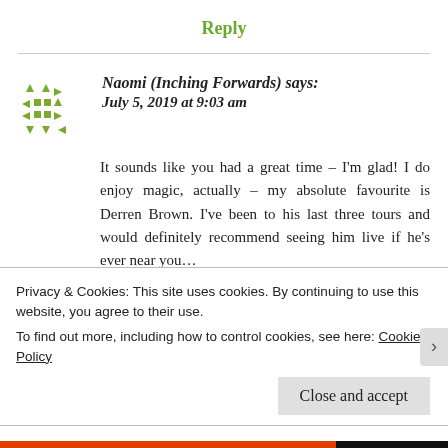Reply
Naomi (Inching Forwards) says: July 5, 2019 at 9:03 am
It sounds like you had a great time – I'm glad! I do enjoy magic, actually – my absolute favourite is Derren Brown. I've been to his last three tours and would definitely recommend seeing him live if he's ever near you…
Privacy & Cookies: This site uses cookies. By continuing to use this website, you agree to their use.
To find out more, including how to control cookies, see here: Cookie Policy
Close and accept